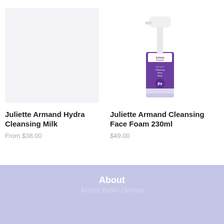[Figure (photo): Product image placeholder for Juliette Armand Hydra Cleansing Milk — light grey/lavender rectangle, no product shown]
Juliette Armand Hydra Cleansing Milk
From $38.00
[Figure (photo): Product image of Juliette Armand Cleansing Face Foam 230ml — a pump bottle with white cap and purple label featuring 'Pr' element symbol]
Juliette Armand Cleansing Face Foam 230ml
$49.00
About
About Bello Derma